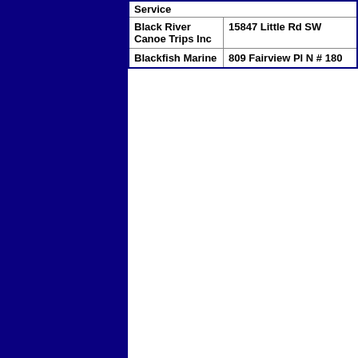| Business Name | Address |
| --- | --- |
| Black River Canoe Trips Inc | 15847 Little Rd SW |
| Blackfish Marine | 809 Fairview Pl N # 180 |